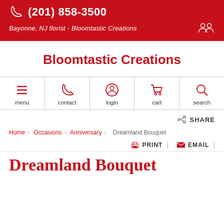(201) 858-3500
Bayonne, NJ florist - Bloomtastic Creations
Bloomtastic Creations
[Figure (other): Navigation bar with icons: menu (hamburger), contact (phone), login (person), cart (shopping cart), search (magnifying glass)]
SHARE
Home > Occasions > Anniversary > Dreamland Bouquet
PRINT | EMAIL
Dreamland Bouquet